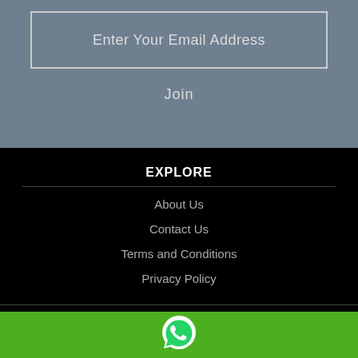Enter Your Email Address
Join
EXPLORE
About Us
Contact Us
Terms and Conditions
Privacy Policy
RETURNS
Return Policy
[Figure (illustration): WhatsApp icon on green bar at bottom]